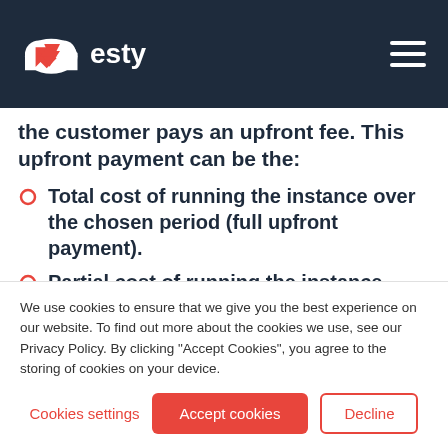Zesty
the customer pays an upfront fee. This upfront payment can be the:
Total cost of running the instance over the chosen period (full upfront payment).
Partial cost of running the instance over the chosen period (partial upfront payment).
We use cookies to ensure that we give you the best experience on our website. To find out more about the cookies we use, see our Privacy Policy. By clicking "Accept Cookies", you agree to the storing of cookies on your device.